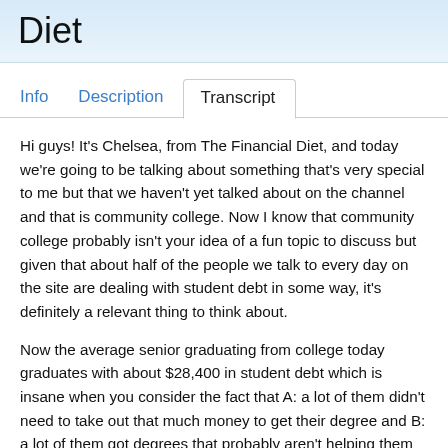Diet
Transcript
Hi guys! It's Chelsea, from The Financial Diet, and today we're going to be talking about something that's very special to me but that we haven't yet talked about on the channel and that is community college. Now I know that community college probably isn't your idea of a fun topic to discuss but given that about half of the people we talk to every day on the site are dealing with student debt in some way, it's definitely a relevant thing to think about.
Now the average senior graduating from college today graduates with about $28,400 in student debt which is insane when you consider the fact that A: a lot of them didn't need to take out that much money to get their degree and B: a lot of them got degrees that probably aren't helping them get a good job.